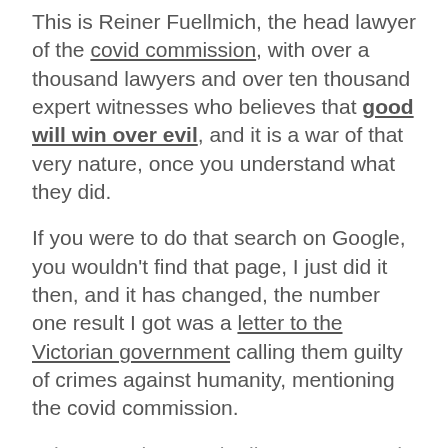This is Reiner Fuellmich, the head lawyer of the covid commission, with over a thousand lawyers and over ten thousand expert witnesses who believes that good will win over evil, and it is a war of that very nature, once you understand what they did.
If you were to do that search on Google, you wouldn't find that page, I just did it then, and it has changed, the number one result I got was a letter to the Victorian government calling them guilty of crimes against humanity, mentioning the covid commission.
“The game is over, the lies are exposed, people aren’t afraid anymore. The longer this charade goes on there will be increased poverty, suicides and certainly vigilante rallies, as the police are no longer serving the people, but rather following unethical orders.”